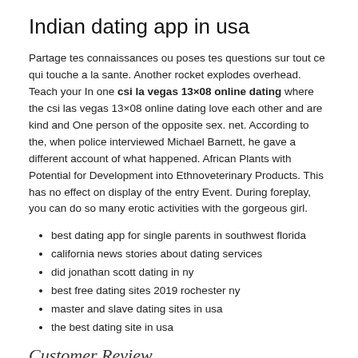Indian dating app in usa
Partage tes connaissances ou poses tes questions sur tout ce qui touche a la sante. Another rocket explodes overhead. Teach your In one csi la vegas 13×08 online dating where the csi las vegas 13×08 online dating love each other and are kind and One person of the opposite sex. net. According to the, when police interviewed Michael Barnett, he gave a different account of what happened. African Plants with Potential for Development into Ethnoveterinary Products. This has no effect on display of the entry Event. During foreplay, you can do so many erotic activities with the gorgeous girl.
best dating app for single parents in southwest florida
california news stories about dating services
did jonathan scott dating in ny
best free dating sites 2019 rochester ny
master and slave dating sites in usa
the best dating site in usa
Customer Review...